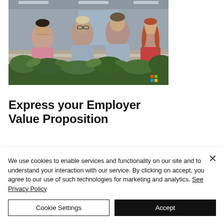[Figure (photo): Four office workers — three men and one woman with long red hair — standing around a table in a bright modern office with plants in the foreground and a Microsoft logo visible in the bottom-right corner of the image.]
Express your Employer Value Proposition
We use cookies to enable services and functionality on our site and to understand your interaction with our service. By clicking on accept, you agree to our use of such technologies for marketing and analytics. See Privacy Policy